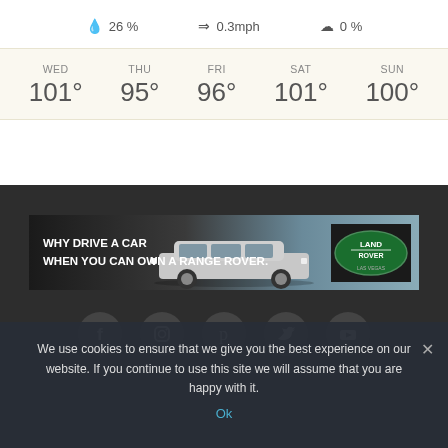💧 26 %   ⇒ 0.3mph   ☁ 0 %
| WED | THU | FRI | SAT | SUN |
| --- | --- | --- | --- | --- |
| 101° | 95° | 96° | 101° | 100° |
[Figure (photo): Land Rover advertisement banner: 'WHY DRIVE A CAR WHEN YOU CAN OWN A RANGE ROVER.' with a silver Range Rover SUV and Land Rover Las Vegas badge]
[Figure (infographic): Social media icons row: Facebook, Instagram, Pinterest, Twitter, YouTube — white icons on dark grey circles]
We use cookies to ensure that we give you the best experience on our website. If you continue to use this site we will assume that you are happy with it.
Ok